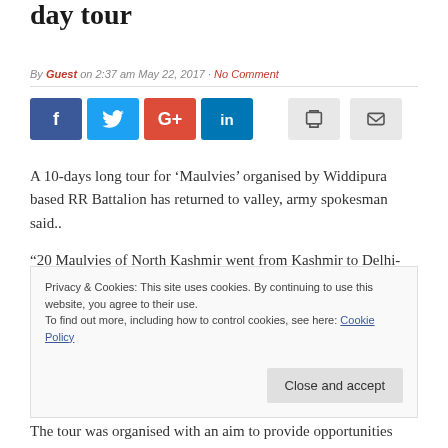day tour
By Guest on 2:37 am May 22, 2017 · No Comment
[Figure (other): Social sharing buttons: Facebook, Twitter, Google+, LinkedIn, Print, Email]
A 10-days long tour for ‘Maulvies’ organised by Widdipura based RR Battalion has returned to valley, army spokesman said..
“20 Maulvies of North Kashmir went from Kashmir to Delhi-Jaipur-Ajmer from 10 May to 20 May 17. Today the
Privacy & Cookies: This site uses cookies. By continuing to use this website, you agree to their use.
To find out more, including how to control cookies, see here: Cookie Policy
The tour was organised with an aim to provide opportunities